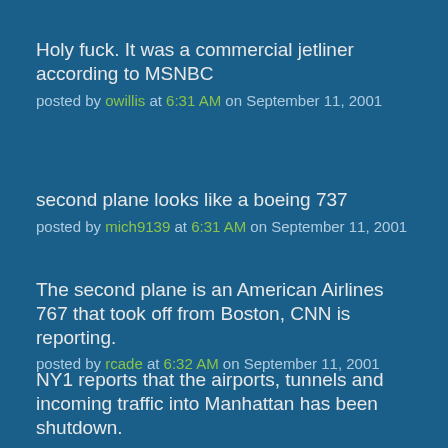Holy fuck. It was a commercial jetliner according to MSNBC
posted by owillis at 6:31 AM on September 11, 2001
second plane looks like a boeing 737
posted by mich9139 at 6:31 AM on September 11, 2001
The second plane is an American Airlines 767 that took off from Boston, CNN is reporting.
posted by rcade at 6:32 AM on September 11, 2001
NY1 reports that the airports, tunnels and incoming traffic into Manhattan has been shutdown.
posted by riffola at 6:32 AM on September 11, 2001